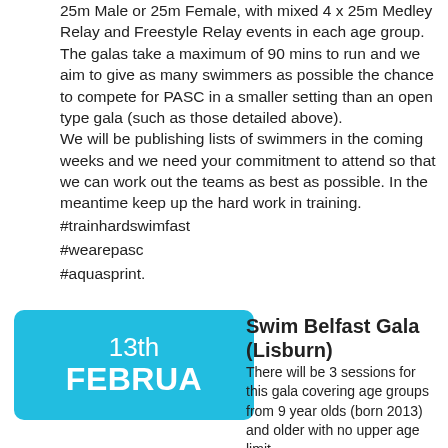25m Male or 25m Female, with mixed 4 x 25m Medley Relay and Freestyle Relay events in each age group. The galas take a maximum of 90 mins to run and we aim to give as many swimmers as possible the chance to compete for PASC in a smaller setting than an open type gala (such as those detailed above).
We will be publishing lists of swimmers in the coming weeks and we need your commitment to attend so that we can work out the teams as best as possible. In the meantime keep up the hard work in training.
#trainhardswimfast
#wearepasc
#aquasprint.
[Figure (other): Cyan rounded rectangle date card showing '13th FEBRUA' in white text]
Swim Belfast Gala (Lisburn)
There will be 3 sessions for this gala covering age groups from 9 year olds (born 2013) and older with no upper age limit